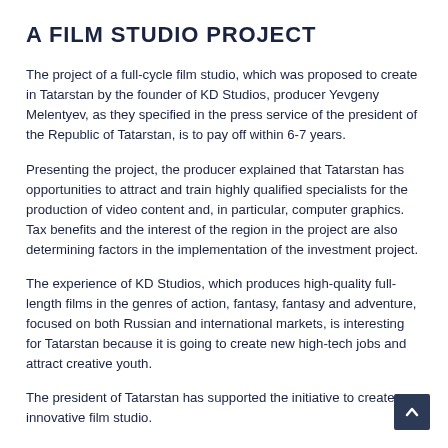A FILM STUDIO PROJECT
The project of a full-cycle film studio, which was proposed to create in Tatarstan by the founder of KD Studios, producer Yevgeny Melentyev, as they specified in the press service of the president of the Republic of Tatarstan, is to pay off within 6-7 years.
Presenting the project, the producer explained that Tatarstan has opportunities to attract and train highly qualified specialists for the production of video content and, in particular, computer graphics. Tax benefits and the interest of the region in the project are also determining factors in the implementation of the investment project.
The experience of KD Studios, which produces high-quality full-length films in the genres of action, fantasy, fantasy and adventure, focused on both Russian and international markets, is interesting for Tatarstan because it is going to create new high-tech jobs and attract creative youth.
The president of Tatarstan has supported the initiative to create an innovative film studio.